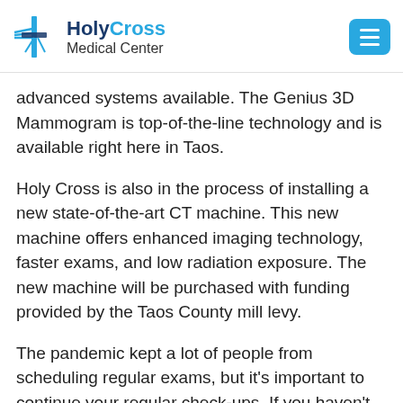Holy Cross Medical Center
advanced systems available. The Genius 3D Mammogram is top-of-the-line technology and is available right here in Taos.
Holy Cross is also in the process of installing a new state-of-the-art CT machine. This new machine offers enhanced imaging technology, faster exams, and low radiation exposure. The new machine will be purchased with funding provided by the Taos County mill levy.
The pandemic kept a lot of people from scheduling regular exams, but it's important to continue your regular check-ups. If you haven't scheduled your